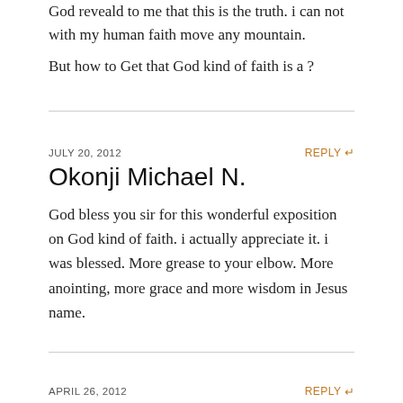God reveald to me that this is the truth. i can not with my human faith move any mountain.
But how to Get that God kind of faith is a ?
JULY 20, 2012
REPLY
Okonji Michael N.
God bless you sir for this wonderful exposition on God kind of faith. i actually appreciate it. i was blessed. More grease to your elbow. More anointing, more grace and more wisdom in Jesus name.
APRIL 26, 2012
REPLY
Jolly Ayomi Nemi
The Lord...